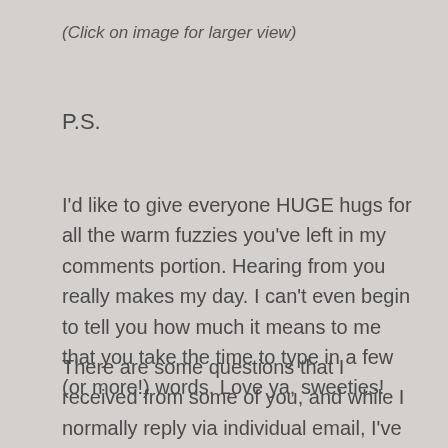(Click on image for larger view)
P.S.
I'd like to give everyone HUGE hugs for all the warm fuzzies you've left in my comments portion. Hearing from you really makes my day. I can't even begin to tell you how much it means to me that you take the time to type in a few (or more!) words. Love ya, sweeties!
There are some questions that I received from some of you, and while I normally reply via individual email, I've seen in some blogs that the replies are written in the comments section too, so that others who may have the same questions can see the